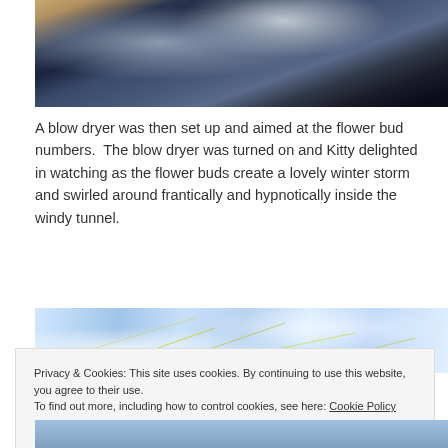[Figure (photo): Close-up photo of a blue/dark hair blow dryer on a wooden floor near a wall]
A blow dryer was then set up and aimed at the flower bud numbers.  The blow dryer was turned on and Kitty delighted in watching as the flower buds create a lovely winter storm and swirled around frantically and hypnotically inside the windy tunnel.
[Figure (photo): Abstract blue and white swirling water or light pattern with yellow-green lines]
Privacy & Cookies: This site uses cookies. By continuing to use this website, you agree to their use.
To find out more, including how to control cookies, see here: Cookie Policy
Close and accept